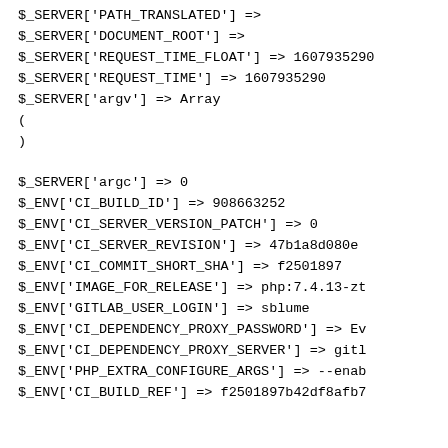$_SERVER['PATH_TRANSLATED'] =>
$_SERVER['DOCUMENT_ROOT'] =>
$_SERVER['REQUEST_TIME_FLOAT'] => 1607935290
$_SERVER['REQUEST_TIME'] => 1607935290
$_SERVER['argv'] => Array
(
)

$_SERVER['argc'] => 0
$_ENV['CI_BUILD_ID'] => 908663252
$_ENV['CI_SERVER_VERSION_PATCH'] => 0
$_ENV['CI_SERVER_REVISION'] => 47b1a8d080e
$_ENV['CI_COMMIT_SHORT_SHA'] => f2501897
$_ENV['IMAGE_FOR_RELEASE'] => php:7.4.13-zt
$_ENV['GITLAB_USER_LOGIN'] => sblume
$_ENV['CI_DEPENDENCY_PROXY_PASSWORD'] => Ev
$_ENV['CI_DEPENDENCY_PROXY_SERVER'] => gitl
$_ENV['PHP_EXTRA_CONFIGURE_ARGS'] => --enab
$_ENV['CI_BUILD_REF'] => f2501897b42df8afb7